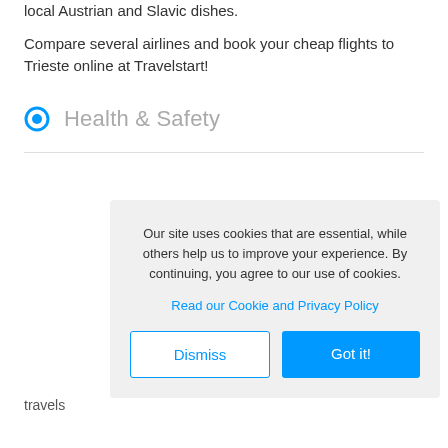local Austrian and Slavic dishes.
Compare several airlines and book your cheap flights to Trieste online at Travelstart!
Health & Safety
Our site uses cookies that are essential, while others help us to improve your experience. By continuing, you agree to our use of cookies.
Read our Cookie and Privacy Policy
Dismiss
Got it!
travels